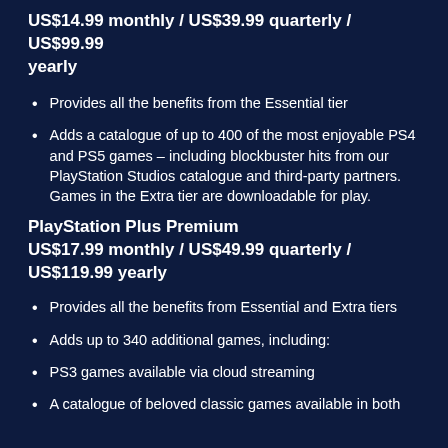US$14.99 monthly / US$39.99 quarterly / US$99.99 yearly
Provides all the benefits from the Essential tier
Adds a catalogue of up to 400 of the most enjoyable PS4 and PS5 games – including blockbuster hits from our PlayStation Studios catalogue and third-party partners. Games in the Extra tier are downloadable for play.
PlayStation Plus Premium
US$17.99 monthly / US$49.99 quarterly / US$119.99 yearly
Provides all the benefits from Essential and Extra tiers
Adds up to 340 additional games, including:
PS3 games available via cloud streaming
A catalogue of beloved classic games available in both...